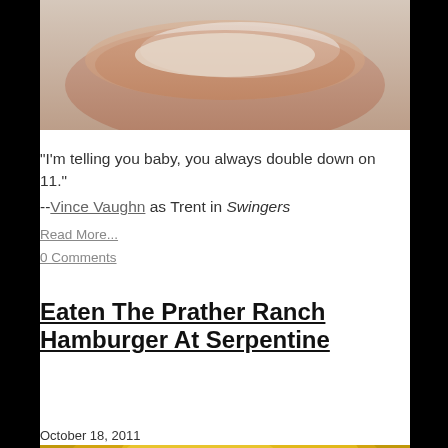[Figure (photo): Close-up photo of a fried chicken sandwich or burger with white sauce/cheese on top, photographed from above on a light background]
"I'm telling you baby, you always double down on 11."
--Vince Vaughn as Trent in Swingers
Read More...
0 Comments
Eaten The Prather Ranch Hamburger At Serpentine
October 18, 2011
[Figure (photo): Close-up photo of a golden-brown hamburger bun, glistening, photographed from above]